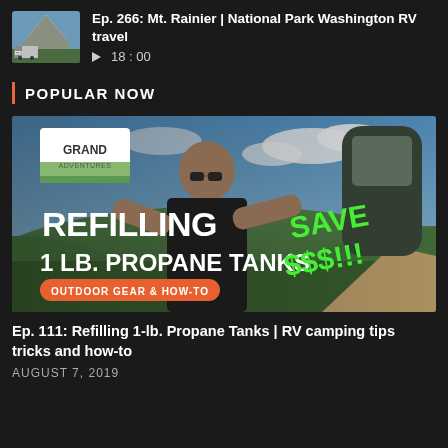[Figure (screenshot): Podcast episode thumbnail showing snowy mountain (Mt. Rainier) with RV, small image]
Ep. 266: Mt. Rainier | National Park Washington RV travel
▷ 18:00
POPULAR NOW
[Figure (photo): Video thumbnail showing a man holding a 1 lb propane tank outdoors with text: REFILLING 1 LB. PROPANE TANKS / SAVE $$$ !!! / OUTDOOR GEAR & HOW-TO / Grand Adventures logo]
Ep. 111: Refilling 1-lb. Propane Tanks | RV camping tips tricks and how-to
AUGUST 7, 2019